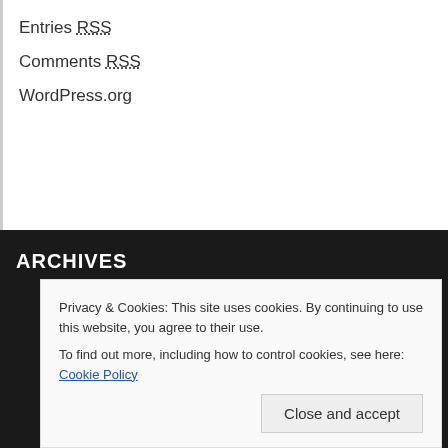Entries RSS
Comments RSS
WordPress.org
ARCHIVES
Privacy & Cookies: This site uses cookies. By continuing to use this website, you agree to their use.
To find out more, including how to control cookies, see here: Cookie Policy
Close and accept